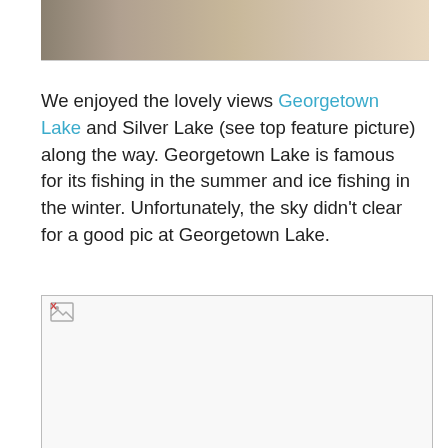[Figure (photo): Top portion of a photograph showing patio/garden furniture including chairs and a yellow bench/settee on a light floor]
We enjoyed the lovely views Georgetown Lake and Silver Lake (see top feature picture) along the way. Georgetown Lake is famous for its fishing in the summer and ice fishing in the winter. Unfortunately, the sky didn't clear for a good pic at Georgetown Lake.
[Figure (photo): A photo placeholder with broken image icon indicating an image that failed to load]